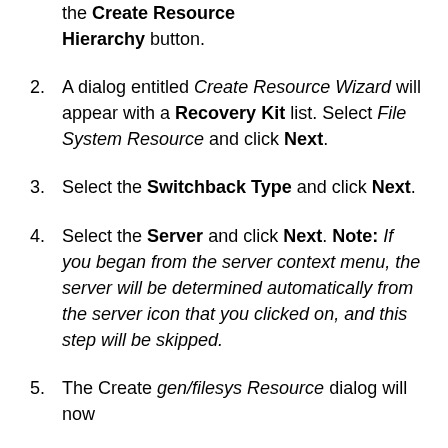the Create Resource Hierarchy button.
A dialog entitled Create Resource Wizard will appear with a Recovery Kit list. Select File System Resource and click Next.
Select the Switchback Type and click Next.
Select the Server and click Next. Note: If you began from the server context menu, the server will be determined automatically from the server icon that you clicked on, and this step will be skipped.
The Create gen/filesys Resource dialog will now